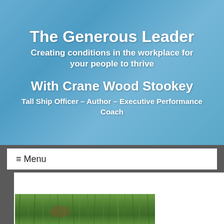The Generous Leader
Creating conditions in the workplace for your people to thrive
With Crane Wood Stookey
Tall Ship Officer – Author – Executive Performance Coach
≡ Menu
[Figure (photo): Partial view of green grass field/meadow, bottom portion of the page]